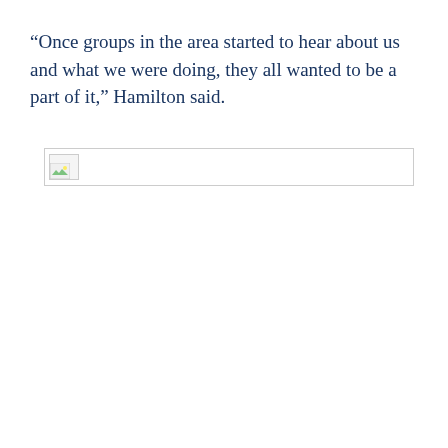“Once groups in the area started to hear about us and what we were doing, they all wanted to be a part of it,” Hamilton said.
[Figure (photo): Broken/missing image placeholder shown as a small icon with a white and light-bordered rectangle]